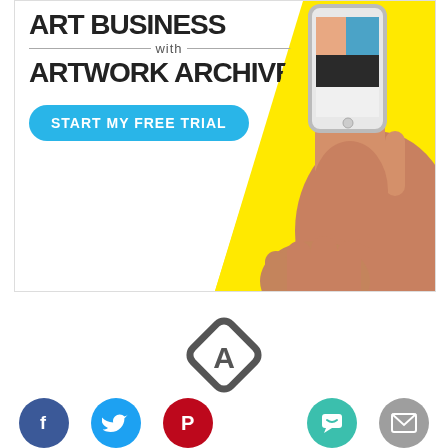[Figure (illustration): Artwork Archive advertisement banner. White background with yellow triangle on right side. Text reads 'ART BUSINESS with ARTWORK ARCHIVE'. Blue rounded button says 'START MY FREE TRIAL'. Right side shows hands holding a smartphone displaying colorful artwork, on a yellow background.]
[Figure (logo): Artwork Archive app icon — a dark grey rounded diamond/rhombus shape with the letter A inside.]
[Figure (illustration): Social media icons row: Facebook (blue circle with f), Twitter (blue circle with bird), Pinterest (red circle with P), Artwork Archive logo center, chat/support icon (teal circle with speech bubble), email icon (grey circle with envelope).]